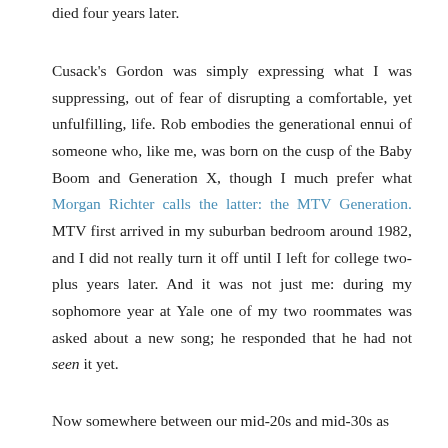died four years later.
Cusack's Gordon was simply expressing what I was suppressing, out of fear of disrupting a comfortable, yet unfulfilling, life. Rob embodies the generational ennui of someone who, like me, was born on the cusp of the Baby Boom and Generation X, though I much prefer what Morgan Richter calls the latter: the MTV Generation. MTV first arrived in my suburban bedroom around 1982, and I did not really turn it off until I left for college two-plus years later. And it was not just me: during my sophomore year at Yale one of my two roommates was asked about a new song; he responded that he had not seen it yet.
Now somewhere between our mid-20s and mid-30s as